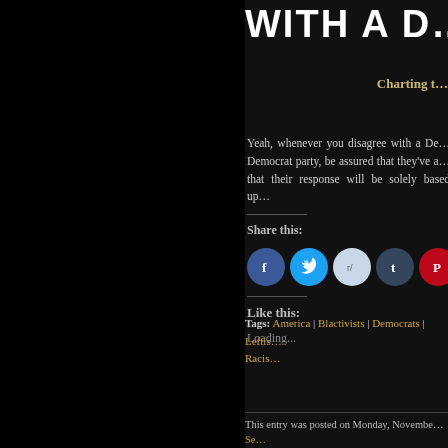WITH A D…
Charting t…
Yeah, whenever you disagree with a De… Democrat party, be assured that they've a… that their response will be solely based up…
Share this:
[Figure (infographic): Row of social share buttons: Facebook, Twitter, Reddit, Tumblr, Pinterest, Pocket, Email]
Like this:
Loading...
Tags: America | Blactivists | Democrats | Leftis… Racis…
This entry was posted on Monday, Novembe… Se…